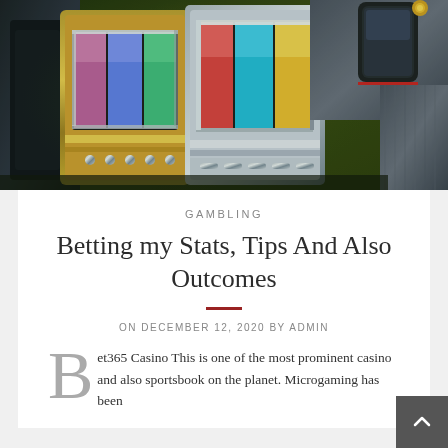[Figure (photo): Close-up photo of colorful casino slot machines with gold, green, and chrome metallic surfaces under bright lights]
GAMBLING
Betting my Stats, Tips And Also Outcomes
ON DECEMBER 12, 2020 BY ADMIN
Bet365 Casino This is one of the most prominent casino and also sportsbook on the planet. Microgaming has been